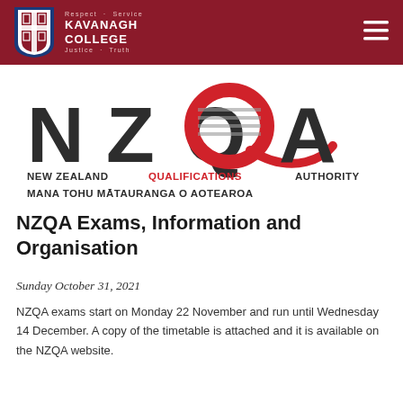[Figure (logo): Kavanagh College crest/shield logo with cross motif in blue, red and white]
Respect · Service KAVANAGH COLLEGE Justice · Truth
[Figure (logo): NZQA logo with large letters NZQA in dark grey and red Q symbol, below: NEW ZEALAND QUALIFICATIONS AUTHORITY / MANA TOHU MĀTAURANGA O AOTEAROA]
NZQA Exams, Information and Organisation
Sunday October 31, 2021
NZQA exams start on Monday 22 November and run until Wednesday 14 December. A copy of the timetable is attached and it is available on the NZQA website.